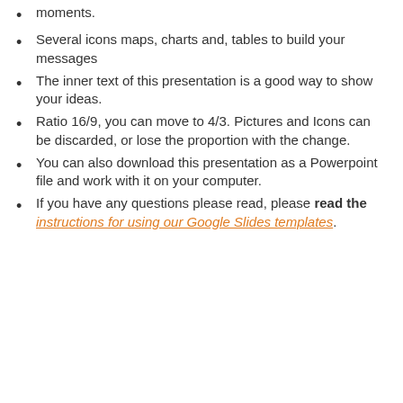moments.
Several icons maps, charts and, tables to build your messages
The inner text of this presentation is a good way to show your ideas.
Ratio 16/9, you can move to 4/3. Pictures and Icons can be discarded, or lose the proportion with the change.
You can also download this presentation as a Powerpoint file and work with it on your computer.
If you have any questions please read, please read the instructions for using our Google Slides templates.